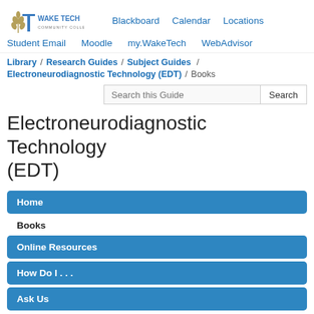[Figure (logo): Wake Tech Community College logo with torch/wheat icon and text]
Blackboard  Calendar  Locations  Student Email  Moodle  my.WakeTech  WebAdvisor
Library / Research Guides / Subject Guides / Electroneurodiagnostic Technology (EDT) / Books
Search this Guide  Search
Electroneurodiagnostic Technology (EDT)
Home
Books
Online Resources
How Do I . . .
Ask Us